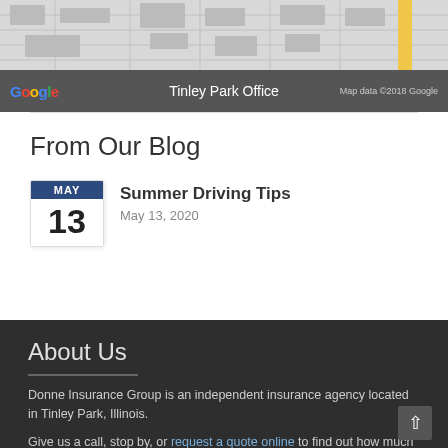[Figure (map): Google Maps screenshot showing Tinley Park Office location with map grid overlay and Google branding bar at bottom reading 'Tinley Park Office' and 'Map data ©2018 Google']
From Our Blog
Summer Driving Tips
May 13, 2020
About Us
Donne Insurance Group is an independent insurance agency located in Tinley Park, Illinois.
Give us a call, stop by, or request a quote online to find out how much we can save you on your insurance.